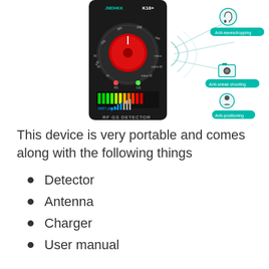[Figure (photo): Product image showing a JMDHKK K18+ RF GS Detector device (black handheld device with red dial and LED bar display) alongside illustrated icons for Anti-eavesdropping, Anti-sneak shooting, and Anti-positioning features with signal wave graphics.]
This device is very portable and comes along with the following things
Detector
Antenna
Charger
User manual